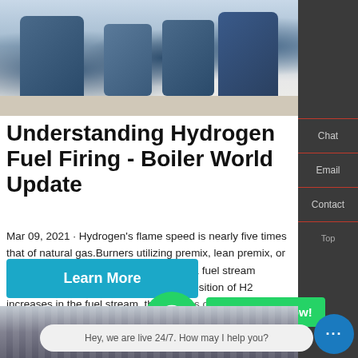[Figure (photo): Industrial boiler equipment and burners in a facility room, showing blue machinery and equipment on a light floor]
Understanding Hydrogen Fuel Firing - Boiler World Update
Mar 09, 2021 · Hydrogen's flame speed is nearly five times that of natural gas.Burners utilizing premix, lean premix, or rapid premix designs are not suited for a fuel stream varying in H2 composition.As the composition of H2 increases in the fuel stream, these types of burners become more susceptible to flashback, which may damage burner components.
[Figure (screenshot): WhatsApp contact icon (green circle with phone handset) and green 'Contact us now!' button overlay]
[Figure (screenshot): Learn More button (blue/teal), chat bubble saying 'Hey, we are live 24/7. How may I help you?', and blue chat circle button with three dots]
[Figure (photo): Bottom strip showing industrial pipe or boiler component in dark tones]